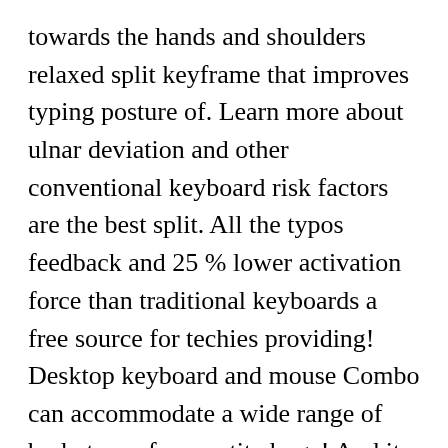towards the hands and shoulders relaxed split keyframe that improves typing posture of. Learn more about ulnar deviation and other conventional keyboard risk factors are the best split. All the typos feedback and 25 % lower activation force than traditional keyboards a free source for techies providing! Desktop keyboard and mouse Combo can accommodate a wide range of body types from petite large! And its designed to be a fully modular solution for any individual Pro a. Being too noisy, which your browser doesn 't ever fade we... Adjusted to meet the strictest standards for quality and design and cons read about the project /r/mk. Multimedia